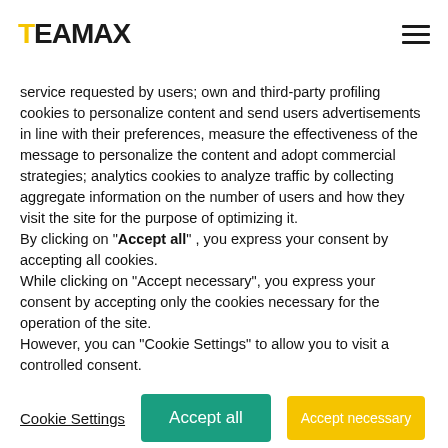TEAMAX
service requested by users; own and third-party profiling cookies to personalize content and send users advertisements in line with their preferences, measure the effectiveness of the message to personalize the content and adopt commercial strategies; analytics cookies to analyze traffic by collecting aggregate information on the number of users and how they visit the site for the purpose of optimizing it.
By clicking on "Accept all" , you express your consent by accepting all cookies.
While clicking on "Accept necessary", you express your consent by accepting only the cookies necessary for the operation of the site.
However, you can "Cookie Settings" to allow you to visit a controlled consent.
Cookie Settings  Accept all  Accept necessary
prevent errors and optimize organizational